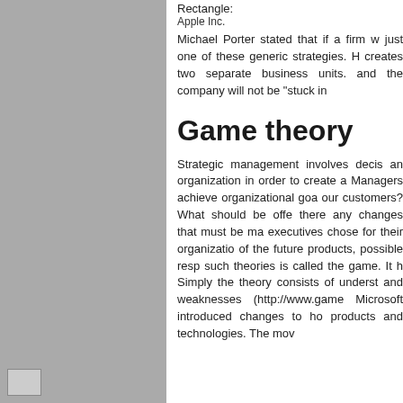Rectangle:
Apple Inc.
Michael Porter stated that if a firm w just one of these generic strategies. H creates two separate business units. and the company will not be "stuck in
Game theory
Strategic management involves decis an organization in order to create a Managers achieve organizational goa our customers? What should be offer there any changes that must be ma executives chose for their organizatio of the future products, possible resp such theories is called the game. It h Simply the theory consists of underst and weaknesses (http://www.game Microsoft introduced changes to ho products and technologies. The mov
[Figure (photo): Small thumbnail image in bottom left corner of gray panel]